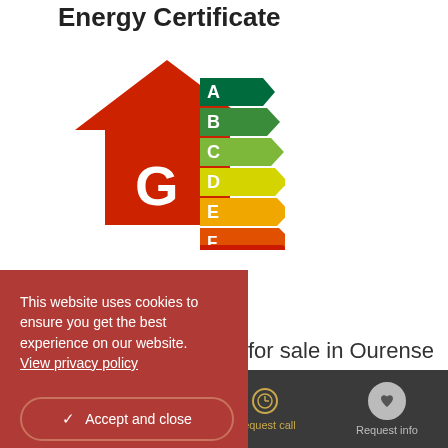Energy Certificate
[Figure (infographic): Energy efficiency rating chart showing a red house silhouette with letter G highlighted, alongside color-coded arrow bands labeled A (dark green) through G (red), indicating energy ratings from best to worst.]
This website uses cookies to ensure you get the best experience on our website. View privacy policy
Accept and close
for sale in Ourense
Call us | WhatsApp | Request call | Request info